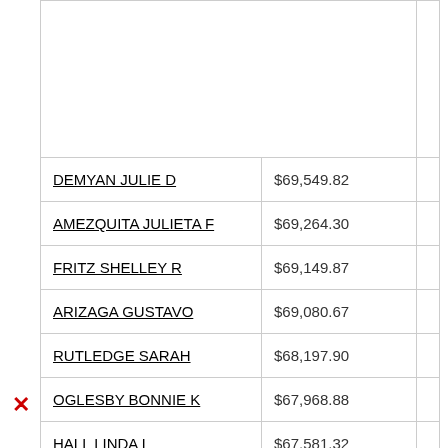| Name | Amount |  |
| --- | --- | --- |
| DEMYAN JULIE D | $69,549.82 |  |
| AMEZQUITA JULIETA F | $69,264.30 |  |
| FRITZ SHELLEY R | $69,149.87 |  |
| ARIZAGA GUSTAVO | $69,080.67 |  |
| RUTLEDGE SARAH | $68,197.90 |  |
| OGLESBY BONNIE K | $67,968.88 |  |
| HALL LINDA L | $67,581.32 |  |
| WALLACE JENNIFER J | $66,766.52 | X |